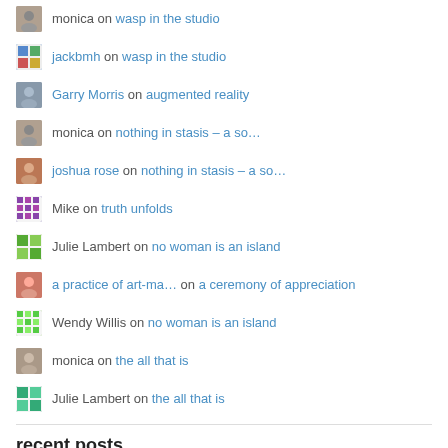monica on wasp in the studio
jackbmh on wasp in the studio
Garry Morris on augmented reality
monica on nothing in stasis – a so…
joshua rose on nothing in stasis – a so…
Mike on truth unfolds
Julie Lambert on no woman is an island
a practice of art-ma… on a ceremony of appreciation
Wendy Willis on no woman is an island
monica on the all that is
Julie Lambert on the all that is
recent posts
nothing in stasis – at tucson museum of art
purkinje and pyramidal – notes on these neurons
wasp in the studio
augmented reality